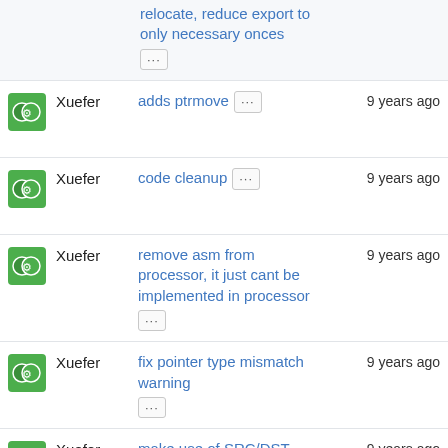relocate, reduce export to only necessary onces ...
Xuefer adds ptrmove ... 9 years ago
Xuefer code cleanup ... 9 years ago
Xuefer remove asm from processor, it just cant be implemented in processor ... 9 years ago
Xuefer fix pointer type mismatch warning ... 9 years ago
Xuefer make use of SRC/DST widely ... 9 years ago